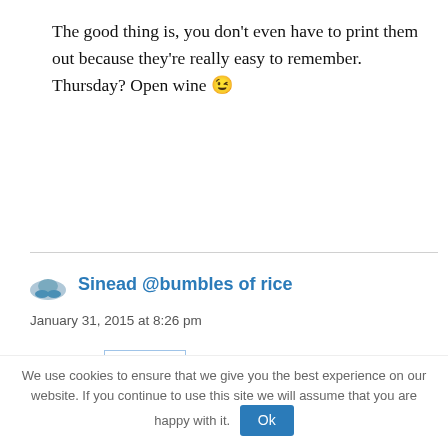The good thing is, you don't even have to print them out because they're really easy to remember. Thursday? Open wine 😉
Reply
Sinead @bumbles of rice
January 31, 2015 at 8:26 pm
how did I not comment on this first time around? I remember reading it. I love the new
We use cookies to ensure that we give you the best experience on our website. If you continue to use this site we will assume that you are happy with it.